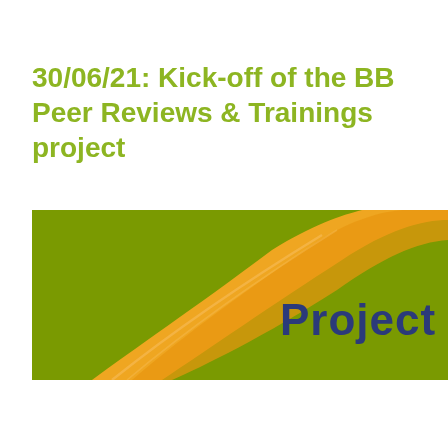30/06/21: Kick-off of the BB Peer Reviews & Trainings project
[Figure (illustration): A horizontal banner with olive green background, a large orange swoosh/arc graphic, and the word 'Project' in bold dark navy blue text on the right side.]